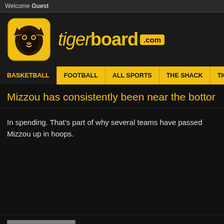Welcome Guest
[Figure (logo): Tigerboard.com logo with tiger icon on gold rounded square and tigerboard.com text in gold/white]
BASKETBALL | FOOTBALL | ALL SPORTS | THE SHACK | TICKETS | POK...
Mizzou has consistently been near the bottom
In spending. That’s part of why several teams have passed Mizzou up in hoops.
REPORT MESSAGE
REPLY